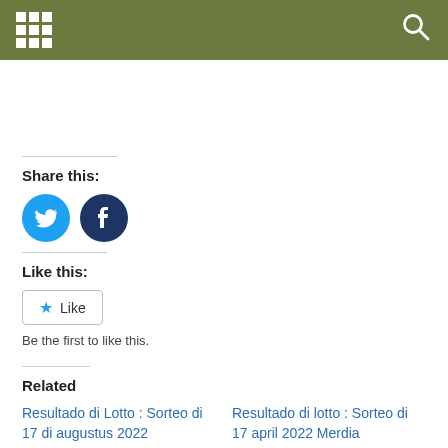[Figure (other): Navigation bar with grid/apps icon on left and search magnifying glass icon on right, olive/dark green background]
Share this:
[Figure (other): Twitter bird icon in blue circle and Facebook f icon in dark blue circle]
Like this:
[Figure (other): Like button with blue star icon and 'Like' text, bordered box]
Be the first to like this.
Related
Resultado di Lotto : Sorteo di 17 di augustus 2022
Resultado di lotto : Sorteo di 17 april 2022 Merdia